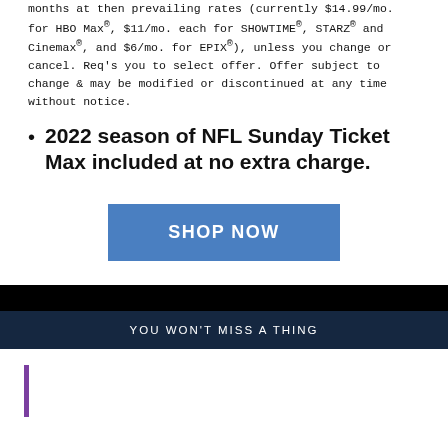months at then prevailing rates (currently $14.99/mo. for HBO Max®, $11/mo. each for SHOWTIME®, STARZ® and Cinemax®, and $6/mo. for EPIX®), unless you change or cancel. Req's you to select offer. Offer subject to change & may be modified or discontinued at any time without notice.
2022 season of NFL Sunday Ticket Max included at no extra charge.
[Figure (other): Blue 'SHOP NOW' button]
YOU WON'T MISS A THING
[Figure (other): Purple vertical bar/accent on white background section]